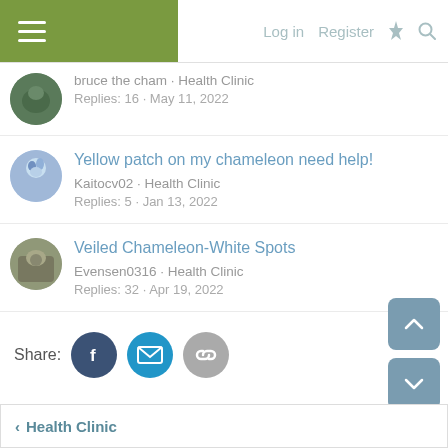Log in  Register
bruce the cham · Health Clinic
Replies: 16 · May 11, 2022
Yellow patch on my chameleon need help!
Kaitocv02 · Health Clinic
Replies: 5 · Jan 13, 2022
Veiled Chameleon-White Spots
Evensen0316 · Health Clinic
Replies: 32 · Apr 19, 2022
Share:
< Health Clinic